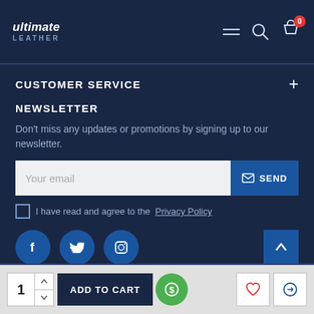ultimate LEATHER — navigation header with menu, search, and cart icons
CUSTOMER SERVICE
NEWSLETTER
Don't miss any updates or promotions by signing up to our newsletter.
Your email [input] SEND
I have read and agree to the Privacy Policy
[Figure (screenshot): Social media icons: Facebook, Twitter, Instagram circles and scroll-to-top arrow button]
1 [qty controls] ADD TO CART [$] [heart icon] [transfer icon]